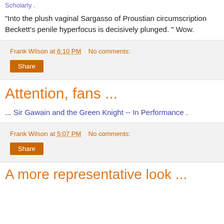Scholarly .
"Into the plush vaginal Sargasso of Proustian circumscription Beckett's penile hyperfocus is decisively plunged. " Wow.
Frank Wilson at 6:10 PM   No comments:
Share
Attention, fans ...
... Sir Gawain and the Green Knight -- In Performance .
Frank Wilson at 5:07 PM   No comments:
Share
A more representative look ...